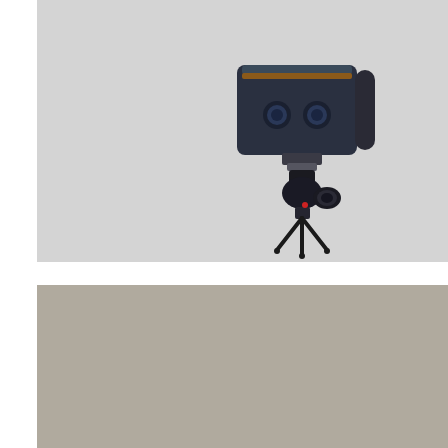[Figure (photo): Matterport 3D camera scanner mounted on a tripod against a light gray background, with the MATTERPORT logo with red period visible at the top]
[Figure (photo): Lower portion image showing a gray/taupe background, likely the bottom part of the same scene or a different panel]